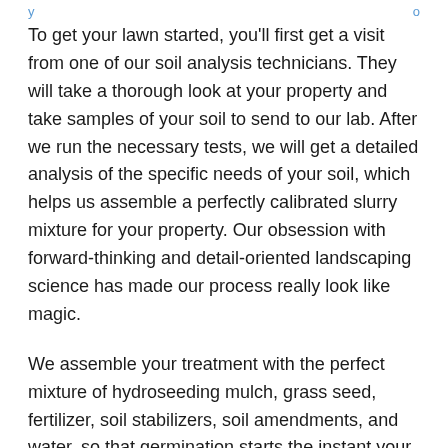y ... o
To get your lawn started, you'll first get a visit from one of our soil analysis technicians. They will take a thorough look at your property and take samples of your soil to send to our lab. After we run the necessary tests, we will get a detailed analysis of the specific needs of your soil, which helps us assemble a perfectly calibrated slurry mixture for your property. Our obsession with forward-thinking and detail-oriented landscaping science has made our process really look like magic.
We assemble your treatment with the perfect mixture of hydroseeding mulch, grass seed, fertilizer, soil stabilizers, soil amendments, and water, so that germination starts the instant your mix hits the ground. We've actually hacked the natural process of soil growth to bring you a natural lawn in a time frame that doesn't seem possible. Most grass growth is